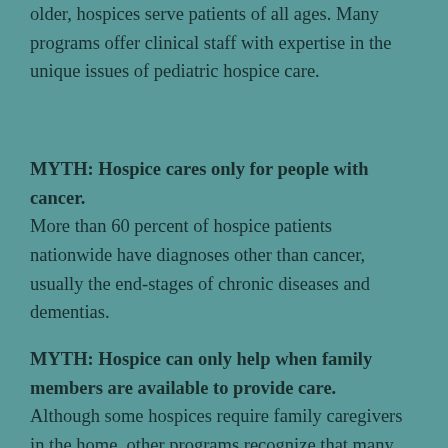older, hospices serve patients of all ages. Many programs offer clinical staff with expertise in the unique issues of pediatric hospice care.
MYTH: Hospice cares only for people with cancer. More than 60 percent of hospice patients nationwide have diagnoses other than cancer, usually the end-stages of chronic diseases and dementias.
MYTH: Hospice can only help when family members are available to provide care. Although some hospices require family caregivers in the home, other programs recognize that many persons with terminal illnesses are alone. These hospices work to coordinate community resources that can make home care possible, or they help the patient find another alternative care setting.